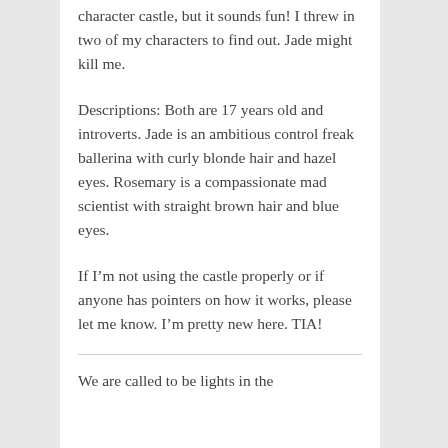character castle, but it sounds fun! I threw in two of my characters to find out. Jade might kill me.
Descriptions: Both are 17 years old and introverts. Jade is an ambitious control freak ballerina with curly blonde hair and hazel eyes. Rosemary is a compassionate mad scientist with straight brown hair and blue eyes.
If I'm not using the castle properly or if anyone has pointers on how it works, please let me know. I'm pretty new here. TIA!
We are called to be lights in the